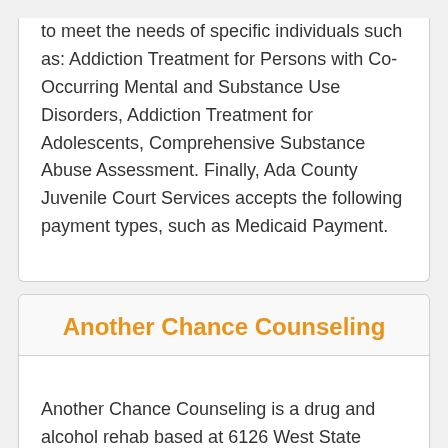to meet the needs of specific individuals such as: Addiction Treatment for Persons with Co-Occurring Mental and Substance Use Disorders, Addiction Treatment for Adolescents, Comprehensive Substance Abuse Assessment. Finally, Ada County Juvenile Court Services accepts the following payment types, such as Medicaid Payment.
Another Chance Counseling
Another Chance Counseling is a drug and alcohol rehab based at 6126 West State Street in Boise, ID.